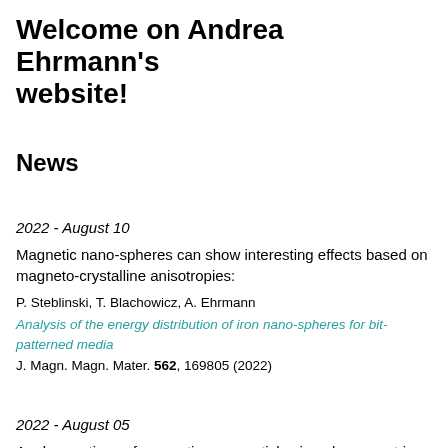Welcome on Andrea Ehrmann's website!
News
2022 - August 10
Magnetic nano-spheres can show interesting effects based on magneto-crystalline anisotropies:
P. Steblinski, T. Blachowicz, A. Ehrmann
Analysis of the energy distribution of iron nano-spheres for bit-patterned media
J. Magn. Magn. Mater. 562, 169805 (2022)
2022 - August 05
Agglomerations of magnetic nanoparticles in polymer matrices strongly change the composite's magnetic